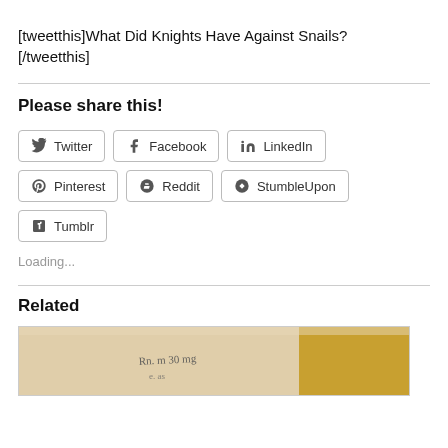[tweetthis]What Did Knights Have Against Snails? [/tweetthis]
Please share this!
Twitter  Facebook  LinkedIn  Pinterest  Reddit  StumbleUpon  Tumblr
Loading...
Related
[Figure (photo): A cropped photograph of an old manuscript or parchment document with handwritten text visible.]